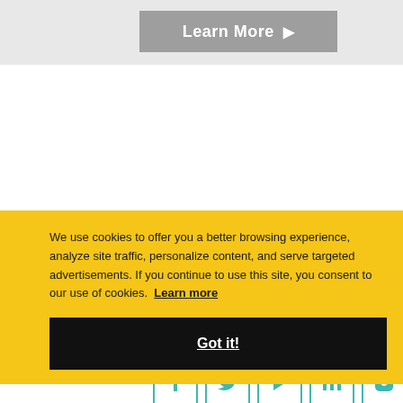[Figure (screenshot): Learn More button with right arrow on grey background]
[Figure (screenshot): Back To Top button with up arrow in teal/green color]
Follow Us
[Figure (screenshot): Row of social media icons: Facebook, Twitter, YouTube/Play, LinkedIn, Instagram in teal outlined boxes]
We use cookies to offer you a better browsing experience, analyze site traffic, personalize content, and serve targeted advertisements. If you continue to use this site, you consent to our use of cookies.  Learn more
[Figure (screenshot): Got it! button in black with white underlined text]